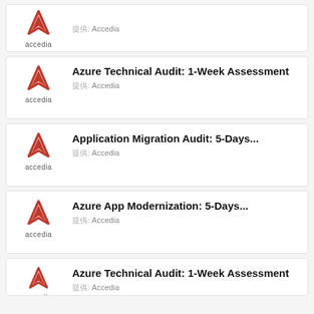[Figure (logo): Accedia logo - partial card at top]
提供: Accedia
[Figure (logo): Accedia logo]
Azure Technical Audit: 1-Week Assessment
提供: Accedia
[Figure (logo): Accedia logo]
Application Migration Audit: 5-Days...
提供: Accedia
[Figure (logo): Accedia logo]
Azure App Modernization: 5-Days...
提供: Accedia
[Figure (logo): Accedia logo - partial card at bottom]
Azure Technical Audit: 1-Week Assessment
提供: Accedia